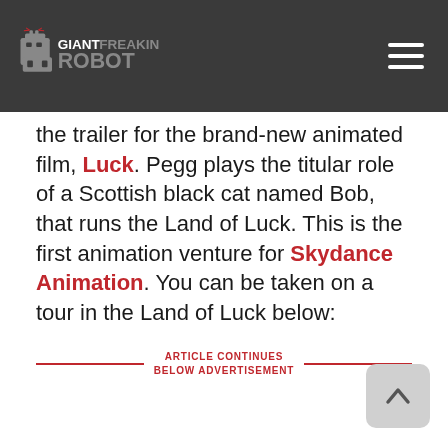Giant Freakin Robot
the trailer for the brand-new animated film, Luck. Pegg plays the titular role of a Scottish black cat named Bob, that runs the Land of Luck. This is the first animation venture for Skydance Animation. You can be taken on a tour in the Land of Luck below:
ARTICLE CONTINUES BELOW ADVERTISEMENT